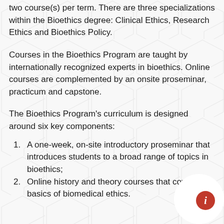two course(s) per term. There are three specializations within the Bioethics degree: Clinical Ethics, Research Ethics and Bioethics Policy.
Courses in the Bioethics Program are taught by internationally recognized experts in bioethics. Online courses are complemented by an onsite proseminar, practicum and capstone.
The Bioethics Program's curriculum is designed around six key components:
A one-week, on-site introductory proseminar that introduces students to a broad range of topics in bioethics;
Online history and theory courses that cover the basics of biomedical ethics.